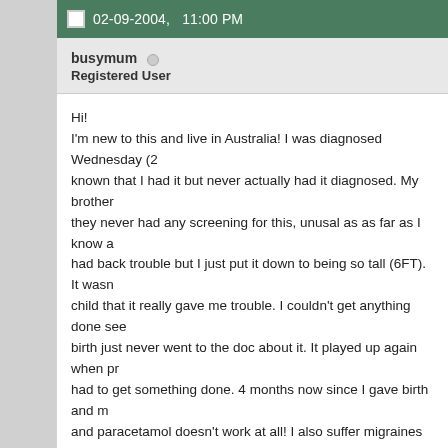02-09-2004,   11:00 PM
busymum
Registered User
Hi!
I'm new to this and live in Australia! I was diagnosed Wednesday (2known that I had it but never actually had it diagnosed. My brother they never had any screening for this, unusal as as far as I know ahad back trouble but I just put it down to being so tall (6FT). It wasnchild that it really gave me trouble. I couldn't get anything done seebirth just never went to the doc about it. It played up again when prhad to get something done. 4 months now since I gave birth and mand paracetamol doesn't work at all! I also suffer migraines and wathis maybe caused from the scoliosis. What do you think? The docenough to give me pain and make things uncomfortable for me. Soget a sharp pain down my spine.
Me (25)
DH (27)
Full-time wife & mum
DS (09.00)
DD (09.03)